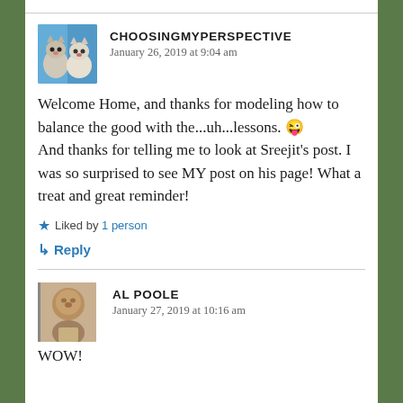[Figure (photo): Avatar of choosingmyperspective, two cats/kittens on blue background]
CHOOSINGMYPERSPECTIVE
January 26, 2019 at 9:04 am
Welcome Home, and thanks for modeling how to balance the good with the...uh...lessons. 😜 And thanks for telling me to look at Sreejit's post. I was so surprised to see MY post on his page! What a treat and great reminder!
Liked by 1 person
↳ Reply
[Figure (photo): Avatar of Al Poole, elderly man smiling]
AL POOLE
January 27, 2019 at 10:16 am
WOW!